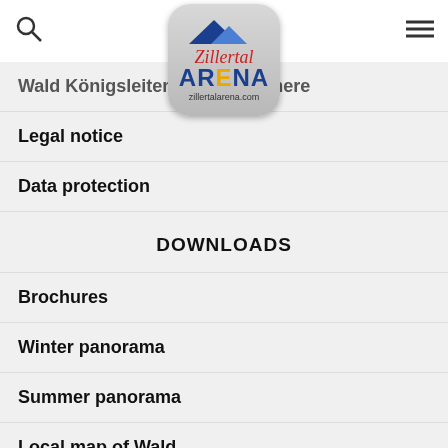zillertalarena.com
Wald Königsleiten: getting here
Legal notice
Data protection
DOWNLOADS
Brochures
Winter panorama
Summer panorama
Local map of Wald
Local map of Königsleiten